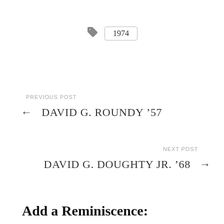[Figure (other): Tag icon with a rounded rectangle pill label showing '1974']
PREVIOUS POST
← DAVID G. ROUNDY '57
NEXT POST
DAVID G. DOUGHTY JR. '68 →
Add a Reminiscence: